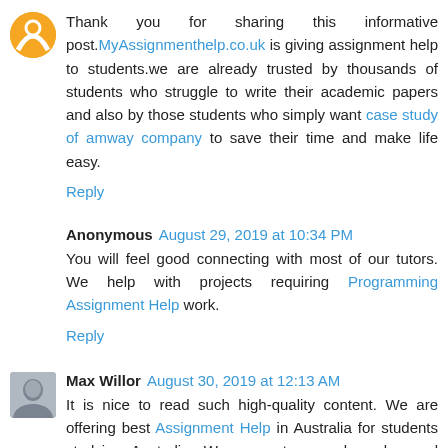Thank you for sharing this informative post. MyAssignmenthelp.co.uk is giving assignment help to students.we are already trusted by thousands of students who struggle to write their academic papers and also by those students who simply want case study of amway company to save their time and make life easy.
Reply
Anonymous  August 29, 2019 at 10:34 PM
You will feel good connecting with most of our tutors. We help with projects requiring Programming Assignment Help work.
Reply
Max Willor  August 30, 2019 at 12:13 AM
It is nice to read such high-quality content. We are offering best Assignment Help in Australia for students studying Australia. We guarantee good grades and promise to complete the task on the promised time. If you need to